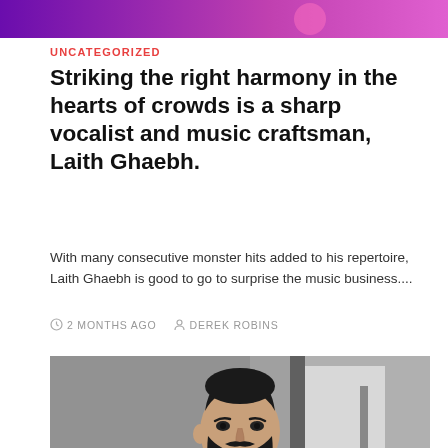[Figure (photo): Purple/pink gradient banner at the top of the page]
UNCATEGORIZED
Striking the right harmony in the hearts of crowds is a sharp vocalist and music craftsman, Laith Ghaebh.
With many consecutive monster hits added to his repertoire, Laith Ghaebh is good to go to surprise the music business....
2 MONTHS AGO   DEREK ROBINS
[Figure (photo): Black and white portrait photograph of Laith Ghaebh, a bearded man wearing a dark suit and white shirt, photographed from a side-forward angle in an architectural setting]